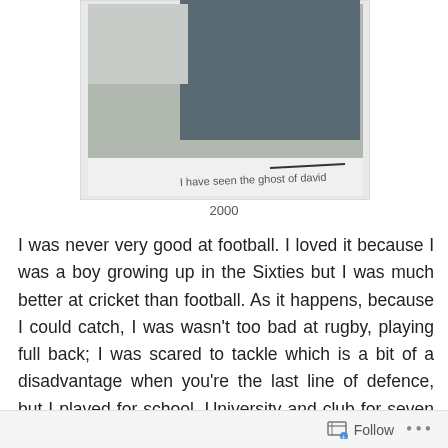[Figure (photo): A photograph showing a person in a dark shirt, partially cropped. Handwritten text at the bottom of the photo reads 'ghost of david'. White border/frame around the image.]
2000
I was never very good at football. I loved it because I was a boy growing up in the Sixties but I was much better at cricket than football. As it happens, because I could catch, I was wasn't too bad at rugby, playing full back; I was scared to tackle which is a bit of a disadvantage when you're the last line of defence, but I played for school, University and club for seven years. But I wasn't very good at football. At St. Paul's Primary
Follow ...